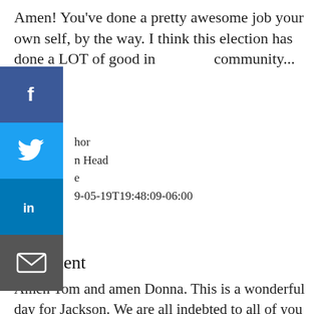Amen! You've done a pretty awesome job your own self, by the way. I think this election has done a LOT of good in community...
[Figure (infographic): Social sharing sidebar buttons: Facebook (blue), Twitter (light blue), LinkedIn (dark blue), Email (gray)]
hor
n Head
e
9-05-19T19:48:09-06:00
147813
Comment
Amen Tom and amen Donna. This is a wonderful day for Jackson. We are all indebted to all of you (Donna, Othor, Ward, JFP...) for blowing the cover on this stuff. Great, tenacious reporting! As Harvey Johnson said during the last debate and since: "Just follow the money". Yall not only followed it, but you sniffed and snorted until you put